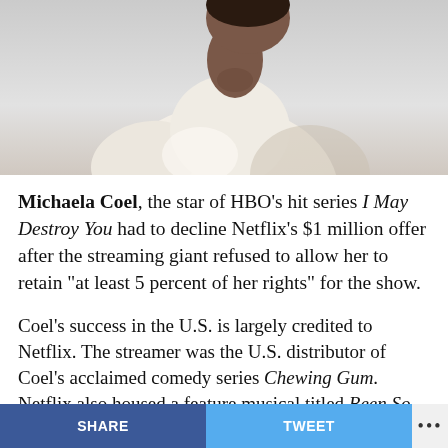[Figure (photo): Person wearing a white/cream top photographed from behind/side against a light gray background, head turned slightly, upper body visible]
Michaela Coel, the star of HBO's hit series I May Destroy You had to decline Netflix's $1 million offer after the streaming giant refused to allow her to retain “at least 5 percent of her rights” for the show.
Coel’s success in the U.S. is largely credited to Netflix. The streamer was the U.S. distributor of Coel’s acclaimed comedy series Chewing Gum. Netflix also housed a feature musical titled Been So Long in which Coel was the
SHARE   TWEET   •••